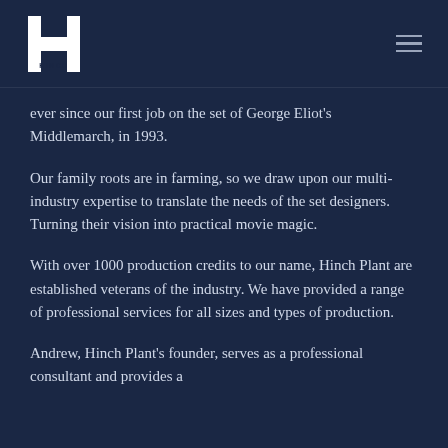HINCH [logo]
ever since our first job on the set of George Eliot's Middlemarch, in 1993.
Our family roots are in farming, so we draw upon our multi-industry expertise to translate the needs of the set designers. Turning their vision into practical movie magic.
With over 1000 production credits to our name, Hinch Plant are established veterans of the industry. We have provided a range of professional services for all sizes and types of production.
Andrew, Hinch Plant's founder, serves as a professional consultant and provides a